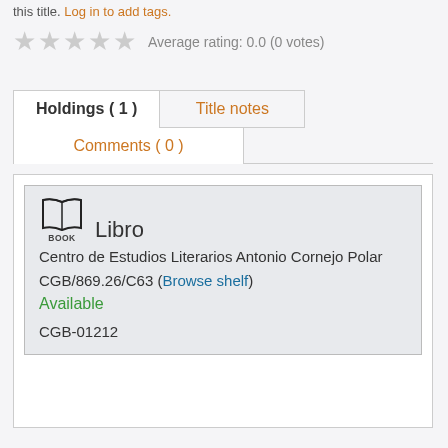this title. Log in to add tags.
Average rating: 0.0 (0 votes)
Holdings ( 1 )
Title notes
Comments ( 0 )
Libro BOOK Centro de Estudios Literarios Antonio Cornejo Polar CGB/869.26/C63 (Browse shelf) Available CGB-01212